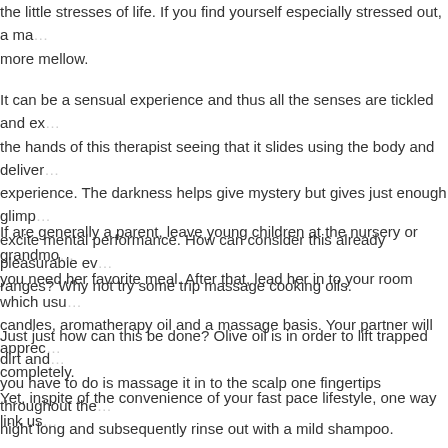the little stresses of life. If you find yourself especially stressed out, a ma... more mellow.
It can be a sensual experience and thus all the senses are tickled and ex... the hands of this therapist seeing that it slides using the body and deliver... experience. The darkness helps give mystery but gives just enough glimp... excite mental performance. How can consider this already pleasurable ev... ranges? Why not try some trip massage cooking oils.
If are generally a parent, leave young children at the nursery or grandmo... you need her favorite meal. After that, lead her in to your room which usu... candles, aromatherapy oil and a massage basis. Your partner will apprec... completely.
Just just how can this be done? Olive oil is in order to lift trapped dirt and... you have to do is massage it in to the scalp one fingertips throughout the... night long and subsequently rinse out with a mild shampoo.
Yet, inspite of the convenience of your fast pace lifestyle, one way link us... stressed, over fatigue & depressed. In short, physically unfit. Could it pos... struggling to maintain? Or maybe the race not being left behind is finally t... just humans, because.
It is getting easy and convenient to get daily restorative massage. Get ...